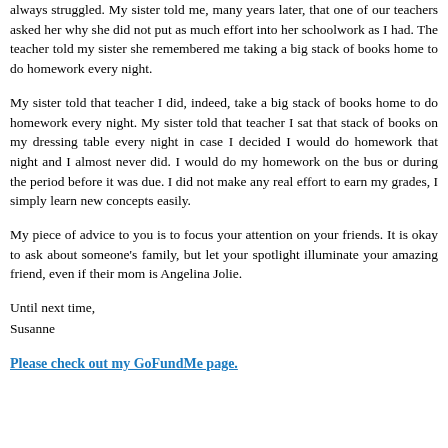always struggled. My sister told me, many years later, that one of our teachers asked her why she did not put as much effort into her schoolwork as I had. The teacher told my sister she remembered me taking a big stack of books home to do homework every night.
My sister told that teacher I did, indeed, take a big stack of books home to do homework every night. My sister told that teacher I sat that stack of books on my dressing table every night in case I decided I would do homework that night and I almost never did. I would do my homework on the bus or during the period before it was due. I did not make any real effort to earn my grades, I simply learn new concepts easily.
My piece of advice to you is to focus your attention on your friends. It is okay to ask about someone's family, but let your spotlight illuminate your amazing friend, even if their mom is Angelina Jolie.
Until next time,
Susanne
Please check out my GoFundMe page.